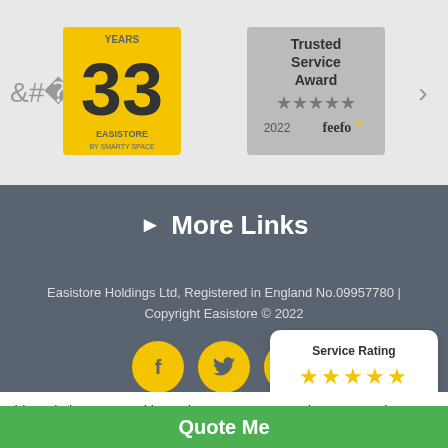[Figure (logo): Easistore 33 years anniversary badge — yellow square with large '33' and text '33 years Easistore']
[Figure (logo): Feefo Trusted Service Award 2022 badge — grey background with stars and feefo branding]
▶ More Links
Easistore Holdings Ltd, Registered in England No.09957780 | Copyright Easistore © 2022
[Figure (infographic): Social media icons: Facebook, Twitter, Instagram — yellow circles with white icons]
[Figure (infographic): Feefo Service Rating widget — white card showing 5 stars, 1063 reviews, feefo logo]
This website uses cookies to improve user experience. By using our website you consent to all cookies in accordance with our Cookie Policy.
Quote Me